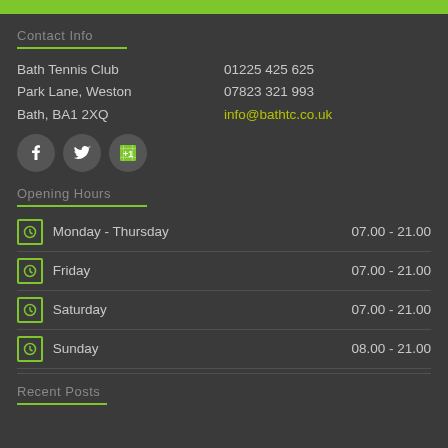Contact Info
Bath Tennis Club
Park Lane, Weston
Bath, BA1 2XQ
01225 425 625
07823 321 993
info@bathtc.co.uk
[Figure (illustration): Social media icons: Facebook, Twitter, Google+1]
Opening Hours
| Day | Hours |
| --- | --- |
| Monday - Thursday | 07.00 - 21.00 |
| Friday | 07.00 - 21.00 |
| Saturday | 07.00 - 21.00 |
| Sunday | 08.00 - 21.00 |
Recent Posts